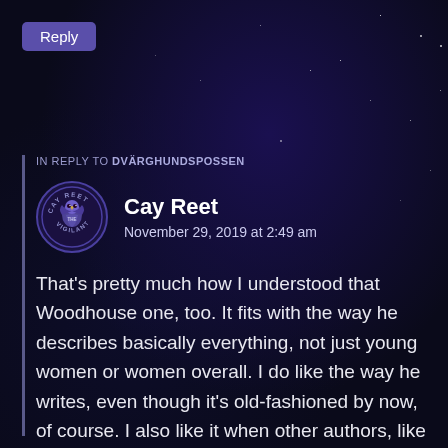Reply
IN REPLY TO DVÄRGHUNDSPOSSEN
Cay Reet
November 29, 2019 at 2:49 am
That's pretty much how I understood that Woodhouse one, too. It fits with the way he describes basically everything, not just young women or women overall. I do like the way he writes, even though it's old-fashioned by now, of course. I also like it when other authors, like Chris Dolley for his Steampunk stories, try to copy it.